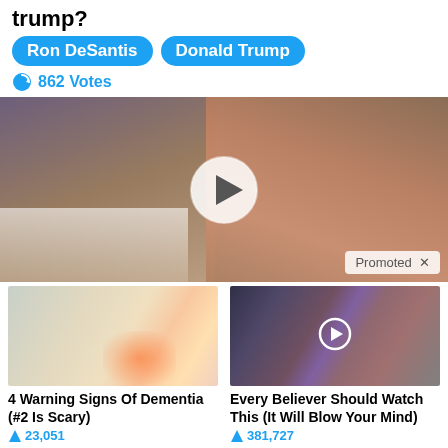trump?
Ron DeSantis
Donald Trump
862 Votes
[Figure (photo): Video thumbnail showing two people, with a large play button overlay and a 'Promoted X' badge in the corner]
[Figure (photo): Image of a hand with glowing effect, thumbnail for '4 Warning Signs Of Dementia (#2 Is Scary)']
4 Warning Signs Of Dementia (#2 Is Scary)
23,051
[Figure (photo): Video thumbnail of a group of people, with a small play button circle, for 'Every Believer Should Watch This (It Will Blow Your Mind)']
Every Believer Should Watch This (It Will Blow Your Mind)
381,727